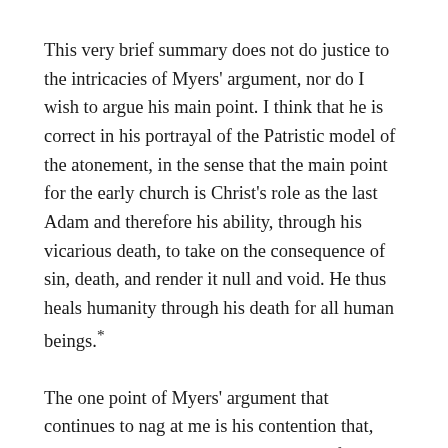This very brief summary does not do justice to the intricacies of Myers' argument, nor do I wish to argue his main point. I think that he is correct in his portrayal of the Patristic model of the atonement, in the sense that the main point for the early church is Christ's role as the last Adam and therefore his ability, through his vicarious death, to take on the consequence of sin, death, and render it null and void. He thus heals humanity through his death for all human beings.*
The one point of Myers' argument that continues to nag at me is his contention that, because the Fathers' metaphysical belief about sin and death is that it is privation (not an ontological something, but simply the absence of good), they cannot be taken as giving a model of the atonement when they speak of Christ's death as